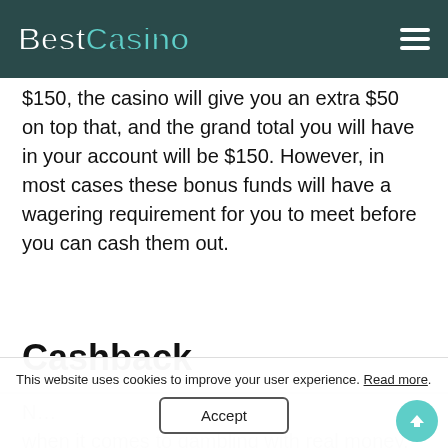BestCasino
$150, the casino will give you an extra $50 on top that, and the grand total you will have in your account will be $150. However, in most cases these bonus funds will have a wagering requirement for you to meet before you can cash them out.
Cashback
Not the nicest thought, but it's unavoidable when it comes to gambling with real money, to soften the blow, at some casinos you can use